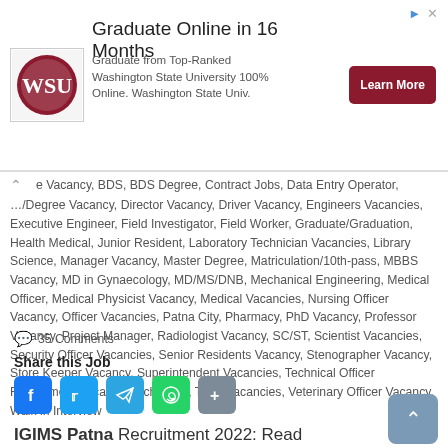[Figure (infographic): Advertisement banner for Washington State University online graduate program. Shows WSU logo, text 'Graduate Online in 16 Months', subtitle 'Graduate from Top-Ranked Washington State University 100% Online. Washington State Univ.', and a red 'Learn More' button.]
e Vacancy, BDS, BDS Degree, Contract Jobs, Data Entry Operator, …/Degree Vacancy, Director Vacancy, Driver Vacancy, Engineers Vacancies, Executive Engineer, Field Investigator, Field Worker, Graduate/Graduation, Health Medical, Junior Resident, Laboratory Technician Vacancies, Library Science, Manager Vacancy, Master Degree, Matriculation/10th-pass, MBBS Vacancy, MD in Gynaecology, MD/MS/DNB, Mechanical Engineering, Medical Officer, Medical Physicist Vacancy, Medical Vacancies, Nursing Officer Vacancy, Officer Vacancies, Patna City, Pharmacy, PhD Vacancy, Professor Vacancy, Project Manager, Radiologist Vacancy, SC/ST, Scientist Vacancies, Security Officer Vacancies, Senior Residents Vacancy, Stenographer Vacancy, Store Keeper Vacancy, Superintendent Vacancies, Technical Officer Recruitment Vacancy, Technician, Tutor Vacancies, Veterinary Officer Vacancy, Walk in Interview
35 Comments
Share this Job
[Figure (infographic): Social share buttons: Facebook (blue), Twitter (blue), Telegram (blue), WhatsApp (green), Share (grey)]
IGIMS Patna Recruitment 2022: Read Employment News for Current Jobs Vacancy in